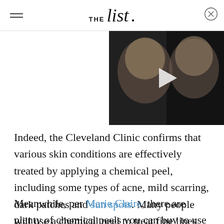THE list.
[Figure (screenshot): Video thumbnail showing a blonde woman's face with a play button overlay, dark background]
Indeed, the Cleveland Clinic confirms that various skin conditions are effectively treated by applying a chemical peel, including some types of acne, mild scarring, dark patches and sun spots. Many people will use a chemical peel to treat fine lines and other signs of aging.
Meanwhile, per Marie Claire, there are plenty of chemical peels you can buy to use at home without so much...